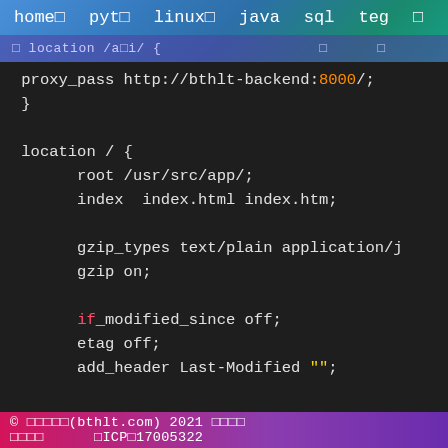home　　pyt　linux　　java sql　teg　　　monitor
location /a[i/ {　　　　　　　　　　　　□　　□
[Figure (screenshot): Code editor screenshot showing nginx configuration with proxy_pass, location block, root, index, gzip_types, gzip, if_modified_since, etag, add_header directives]
© □□□□□(bthlt.com) 2021 □□□□ □□□□　　□ICP□17005322